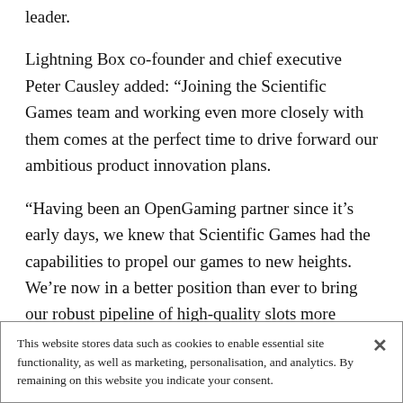leader.
Lightning Box co-founder and chief executive Peter Causley added: “Joining the Scientific Games team and working even more closely with them comes at the perfect time to drive forward our ambitious product innovation plans.
“Having been an OpenGaming partner since it’s early days, we knew that Scientific Games had the capabilities to propel our games to new heights. We’re now in a better position than ever to bring our robust pipeline of high-quality slots more effortlessly
This website stores data such as cookies to enable essential site functionality, as well as marketing, personalisation, and analytics. By remaining on this website you indicate your consent.